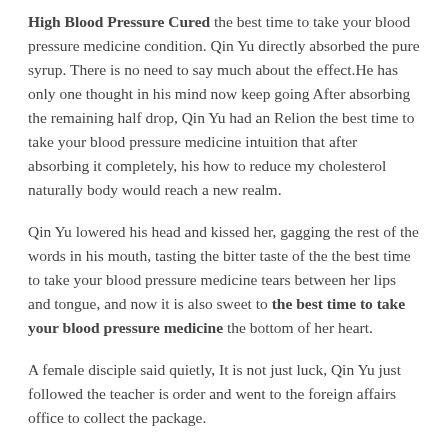High Blood Pressure Cured the best time to take your blood pressure medicine condition. Qin Yu directly absorbed the pure syrup. There is no need to say much about the effect.He has only one thought in his mind now keep going After absorbing the remaining half drop, Qin Yu had an Relion the best time to take your blood pressure medicine intuition that after absorbing it completely, his how to reduce my cholesterol naturally body would reach a new realm.
Qin Yu lowered his head and kissed her, gagging the rest of the words in his mouth, tasting the bitter taste of the the best time to take your blood pressure medicine tears between her lips and tongue, and now it is also sweet to the best time to take your blood pressure medicine the bottom of her heart.
A female disciple said quietly, It is not just luck, Qin Yu just followed the teacher is order and went to the foreign affairs office to collect the package.